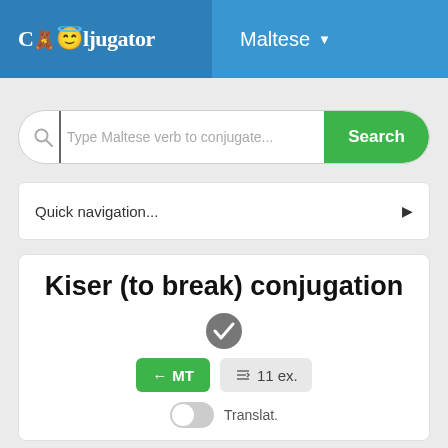Cooljugator — Maltese
[Figure (screenshot): Search bar with placeholder text 'Type Maltese verb to conjugate...' and green Search button]
Quick navigation...
Kiser (to break) conjugation
← MT    ↕ 11 ex.
Translat.